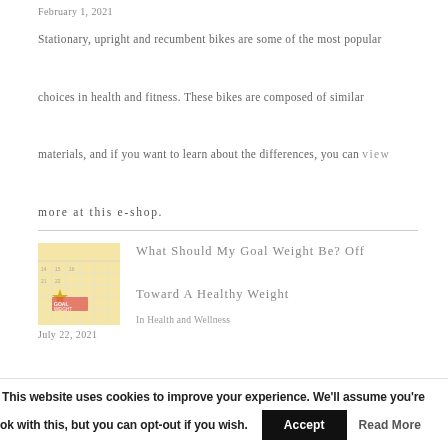February 1, 2021
Stationary, upright and recumbent bikes are some of the most popular choices in health and fitness. These bikes are composed of similar materials, and if you want to learn about the differences, you can view more at this e-shop.
What Should My Goal Weight Be? Off Toward A Healthy Weight
In Health and Wellness
July 22, 2021
This website uses cookies to improve your experience. We'll assume you're ok with this, but you can opt-out if you wish. Accept Read More